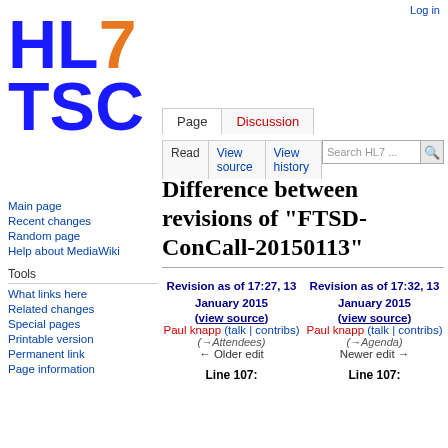Log in
[Figure (logo): HL7 TSC logo with blue HL, orange 7, and blue TSC text]
Difference between revisions of "FTSD-ConCall-20150113"
Revision as of 17:27, 13 January 2015 (view source) Paul knapp (talk | contribs) (→Attendees) ← Older edit
Revision as of 17:32, 13 January 2015 (view source) Paul knapp (talk | contribs) (→Agenda) Newer edit →
Line 107:
Line 107: